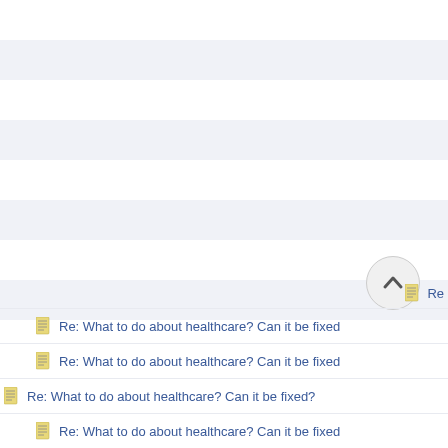Re: What to do about healthcare? Can it be fixed?
Re: What to do about healthcare? Can it be fixed?
Re: What to do about healthcare? Can it be fixed?
Re: What to do about healthcare? Can it be fixed?
Re: What to do about healthcare? Can it be fixed?